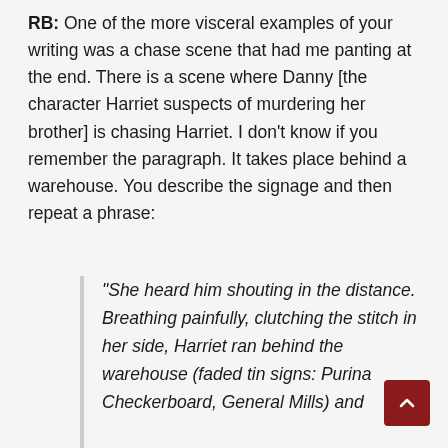RB: One of the more visceral examples of your writing was a chase scene that had me panting at the end. There is a scene where Danny [the character Harriet suspects of murdering her brother] is chasing Harriet. I don't know if you remember the paragraph. It takes place behind a warehouse. You describe the signage and then repeat a phrase:
"She heard him shouting in the distance. Breathing painfully, clutching the stitch in her side, Harriet ran behind the warehouse (faded tin signs: Purina Checkerboard, General Mills) and